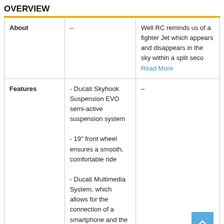OVERVIEW
|  |  |  |
| --- | --- | --- |
| About | – | Well RC reminds us of a fighter Jet which appears and disappears in the sky within a split seco
Read More |
| Features | - Ducati Skyhook Suspension EVO semi-active suspension system
- 19" front wheel ensures a smooth, comfortable ride
- Ducati Multimedia System, which allows for the connection of a smartphone and the management music | – |